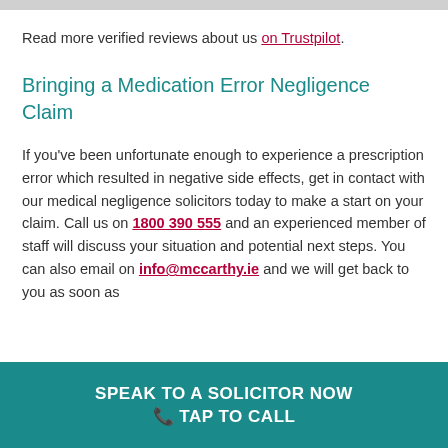Read more verified reviews about us on Trustpilot.
Bringing a Medication Error Negligence Claim
If you've been unfortunate enough to experience a prescription error which resulted in negative side effects, get in contact with our medical negligence solicitors today to make a start on your claim. Call us on 1800 390 555 and an experienced member of staff will discuss your situation and potential next steps. You can also email on info@mccarthy.ie and we will get back to you as soon as
SPEAK TO A SOLICITOR NOW 📞 TAP TO CALL